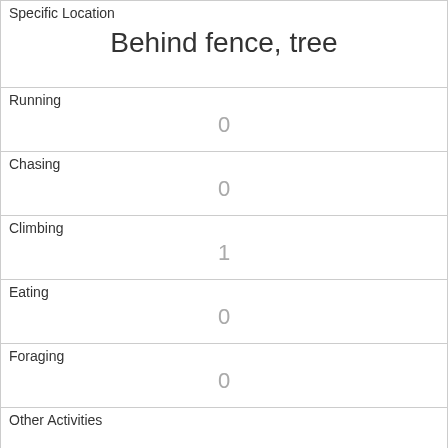| Specific Location | Behind fence, tree |
| Running | 0 |
| Chasing | 0 |
| Climbing | 1 |
| Eating | 0 |
| Foraging | 0 |
| Other Activities |  |
| Kuks | 0 |
| Quaas | 0 |
| Moans | 0 |